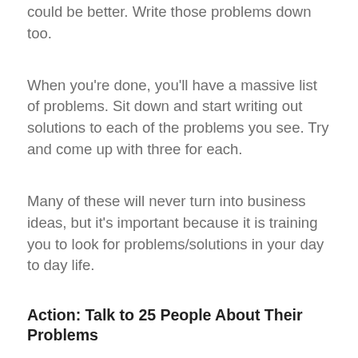could be better. Write those problems down too.
When you're done, you'll have a massive list of problems. Sit down and start writing out solutions to each of the problems you see. Try and come up with three for each.
Many of these will never turn into business ideas, but it's important because it is training you to look for problems/solutions in your day to day life.
Action: Talk to 25 People About Their Problems
The last part of the brainstorm phase, idea